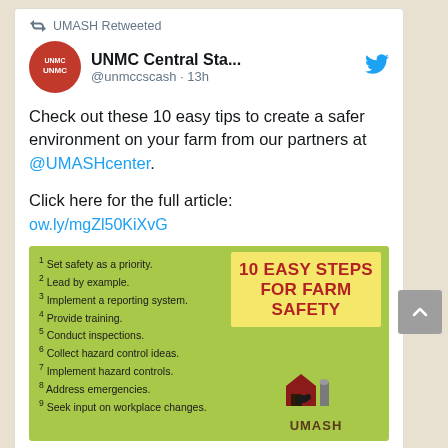UMASH Retweeted
UNMC Central Sta... @unmccscash · 13h
Check out these 10 easy tips to create a safer environment on your farm from our partners at @UMASHcenter.
Click here for the full article: ow.ly/mgZl50KiXvG
[Figure (infographic): 10 Easy Steps for Farm Safety infographic on green background listing 9 steps with UMASH logo]
1 reply, 7 likes